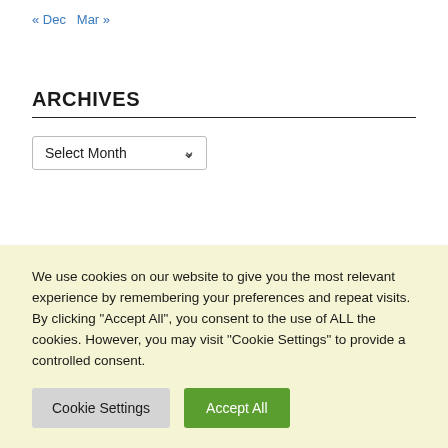« Dec   Mar »
ARCHIVES
Select Month
PAGES
We use cookies on our website to give you the most relevant experience by remembering your preferences and repeat visits. By clicking "Accept All", you consent to the use of ALL the cookies. However, you may visit "Cookie Settings" to provide a controlled consent.